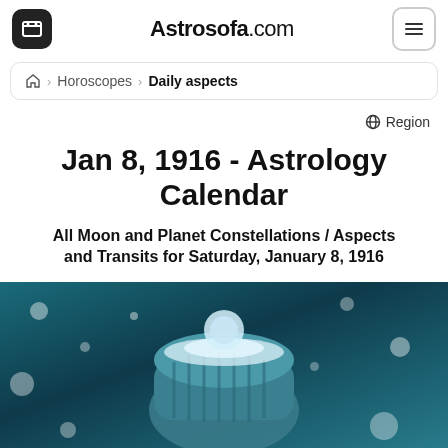Astrosofa.com
Horoscopes > Daily aspects
Region
Jan 8, 1916 - Astrology Calendar
All Moon and Planet Constellations / Aspects and Transits for Saturday, January 8, 1916
[Figure (photo): Winter scene with a person wearing a snow-covered knit hat, blue-teal bokeh background with snowflakes]